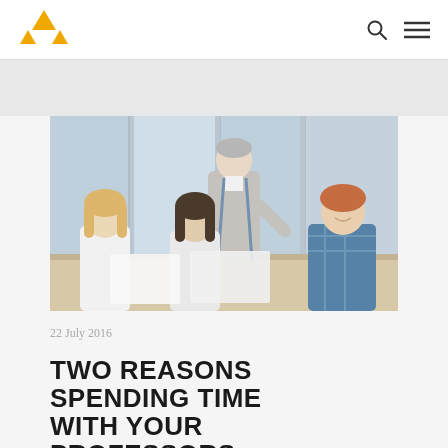[Logo: AHA/college logo] [Search icon] [Menu icon]
[Figure (photo): A professor standing and leaning over, gesturing while speaking to three students seated around a table in a bright, windowed room. Students include a blonde woman, a dark-haired woman, and a young red-haired man.]
22 July 2016
TWO REASONS SPENDING TIME WITH YOUR PROFESSORS